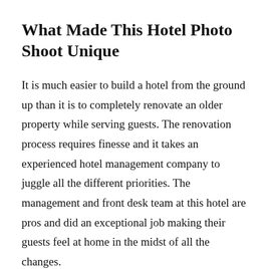What Made This Hotel Photo Shoot Unique
It is much easier to build a hotel from the ground up than it is to completely renovate an older property while serving guests. The renovation process requires finesse and it takes an experienced hotel management company to juggle all the different priorities. The management and front desk team at this hotel are pros and did an exceptional job making their guests feel at home in the midst of all the changes.